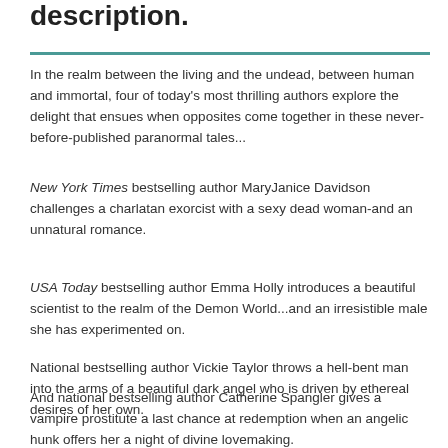description.
In the realm between the living and the undead, between human and immortal, four of today's most thrilling authors explore the delight that ensues when opposites come together in these never-before-published paranormal tales...
New York Times bestselling author MaryJanice Davidson challenges a charlatan exorcist with a sexy dead woman-and an unnatural romance.
USA Today bestselling author Emma Holly introduces a beautiful scientist to the realm of the Demon World...and an irresistible male she has experimented on.
National bestselling author Vickie Taylor throws a hell-bent man into the arms of a beautiful dark angel who is driven by ethereal desires of her own.
And national bestselling author Catherine Spangler gives a vampire prostitute a last chance at redemption when an angelic hunk offers her a night of divine lovemaking.